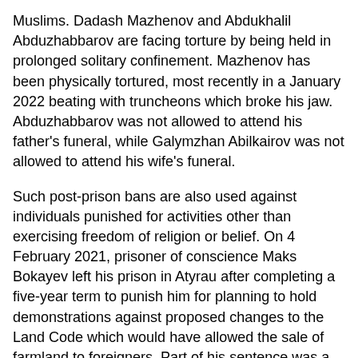Muslims. Dadash Mazhenov and Abdukhalil Abduzhabbarov are facing torture by being held in prolonged solitary confinement. Mazhenov has been physically tortured, most recently in a January 2022 beating with truncheons which broke his jaw. Abduzhabbarov was not allowed to attend his father's funeral, while Galymzhan Abilkairov was not allowed to attend his wife's funeral.
Such post-prison bans are also used against individuals punished for activities other than exercising freedom of religion or belief. On 4 February 2021, prisoner of conscience Maks Bokayev left his prison in Atyrau after completing a five-year term to punish him for planning to hold demonstrations against proposed changes to the Land Code which would have allowed the sale of farmland to foreigners. Part of his sentence was a post-prison three-year ban on engaging in then-unspecified "social activity" (see below).
On 2 February 2021, Bokayev was banned from taking part in a wide range of public activities, including